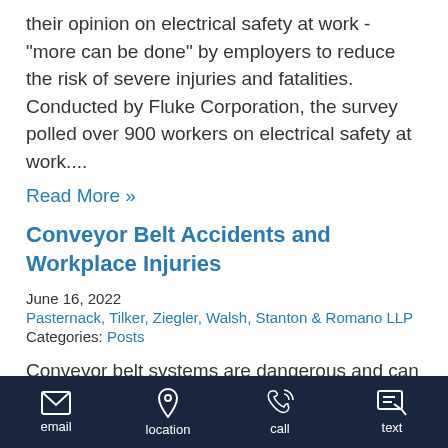their opinion on electrical safety at work - "more can be done" by employers to reduce the risk of severe injuries and fatalities. Conducted by Fluke Corporation, the survey polled over 900 workers on electrical safety at work....
Read More »
Conveyor Belt Accidents and Workplace Injuries
June 16, 2022
Pasternack, Tilker, Ziegler, Walsh, Stanton & Romano LLP
Categories: Posts
Conveyor belt systems are dangerous and can cause severe injury Conveyor belts are used in many workplaces throughout the state. Workers in factories
email  location  call  text